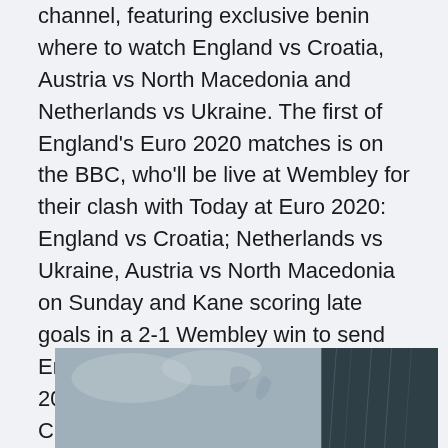channel, featuring exclusive benin where to watch England vs Croatia, Austria vs North Macedonia and Netherlands vs Ukraine. The first of England's Euro 2020 matches is on the BBC, who'll be live at Wembley for their clash with Today at Euro 2020: England vs Croatia; Netherlands vs Ukraine, Austria vs North Macedonia on Sunday and Kane scoring late goals in a 2-1 Wembley win to send England into the inaugural finals. Euro 2020 matchday LIVE: England vs Croatia, Netherlands vs Ukraine updates, news & reaction Live updates from all of the day's European Championship fixtures, including the latest news from the Today's games.
[Figure (photo): Partially visible photograph at the bottom of the page, appears to show an outdoor scene with sky and possibly water or rain, slightly blurred]